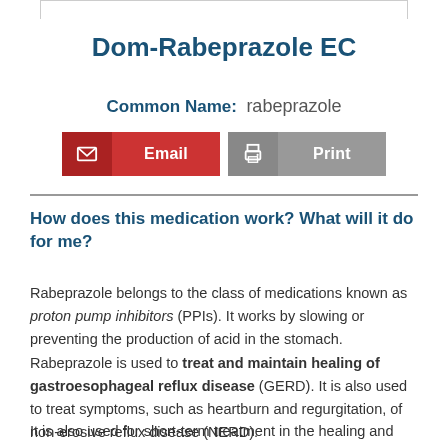Dom-Rabeprazole EC
Common Name: rabeprazole
How does this medication work? What will it do for me?
Rabeprazole belongs to the class of medications known as proton pump inhibitors (PPIs). It works by slowing or preventing the production of acid in the stomach. Rabeprazole is used to treat and maintain healing of gastroesophageal reflux disease (GERD). It is also used to treat symptoms, such as heartburn and regurgitation, of non-erosive reflux disease (NERD).
It is also used for short-term treatment in the healing and relief